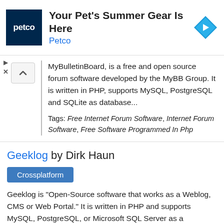[Figure (screenshot): Petco advertisement banner with Petco logo (white text on dark blue background), headline 'Your Pet's Summer Gear Is Here', brand name 'Petco' in blue, and a blue diamond navigation icon on the right. Small play and close icons on the left.]
MyBulletinBoard, is a free and open source forum software developed by the MyBB Group. It is written in PHP, supports MySQL, PostgreSQL and SQLite as database...
Tags: Free Internet Forum Software, Internet Forum Software, Free Software Programmed In Php
Geeklog by Dirk Haun
Crossplatform
Geeklog is "Open-Source software that works as a Weblog, CMS or Web Portal." It is written in PHP and supports MySQL, PostgreSQL, or Microsoft SQL Server as a databa...